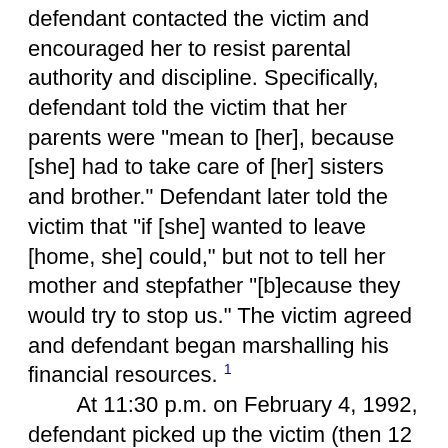defendant contacted the victim and encouraged her to resist parental authority and discipline. Specifically, defendant told the victim that her parents were "mean to [her], because [she] had to take care of [her] sisters and brother." Defendant later told the victim that "if [she] wanted to leave [home, she] could," but not to tell her mother and stepfather "[b]ecause they would try to stop us." The victim agreed and defendant began marshalling his financial resources. 1
At 11:30 p.m. on February 4, 1992, defendant picked up the victim (then 12 years of age) outside her home and